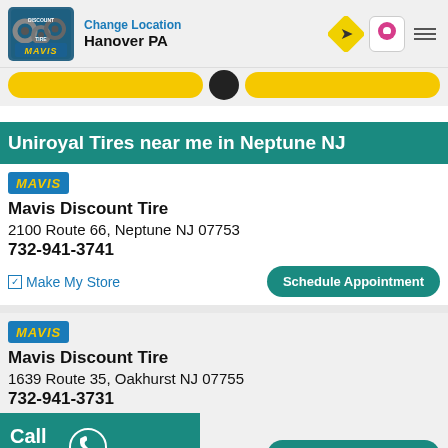Change Location Hanover PA
Uniroyal Tires near me in Neptune NJ
Mavis Discount Tire
2100 Route 66, Neptune NJ 07753
732-941-3741
Make My Store | Schedule Appointment
Mavis Discount Tire
1639 Route 35, Oakhurst NJ 07755
732-941-3731
Call Store | Schedule Appointment